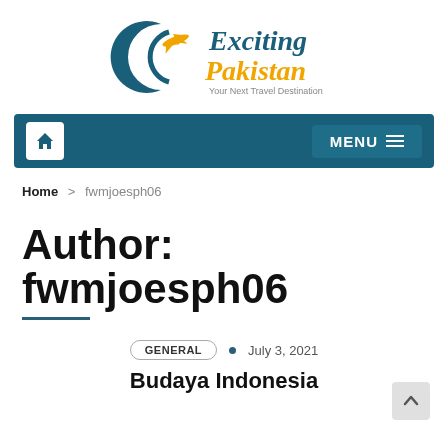[Figure (logo): Exciting Pakistan logo with crescent moon and airplane graphic, text 'Exciting Pakistan - Your Next Travel Destination']
🏠   MENU ≡
Home > fwmjoesph06
Author: fwmjoesph06
GENERAL  •  July 3, 2021
Budaya Indonesia